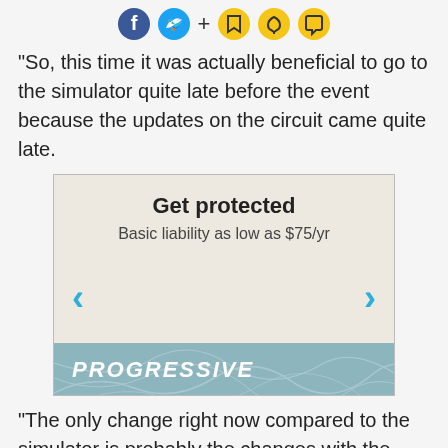Social sharing icons: Facebook, Twitter, +, Bookmark, Bell, Chat
"So, this time it was actually beneficial to go to the simulator quite late before the event because the updates on the circuit came quite late.
[Figure (infographic): Progressive insurance advertisement. Title: Get protected. Subtitle: Basic liability as low as $75/yr. Navigation chevrons left and right. Footer with Progressive logo on teal map background.]
"The only change right now compared to the simulator is probably the changes with the circuit...